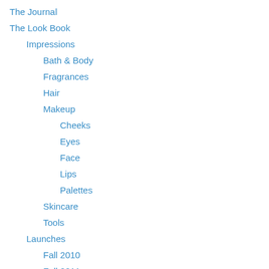The Journal
The Look Book
Impressions
Bath & Body
Fragrances
Hair
Makeup
Cheeks
Eyes
Face
Lips
Palettes
Skincare
Tools
Launches
Fall 2010
Fall 2011
Fall 2012
Fall 2013
Holiday 2010